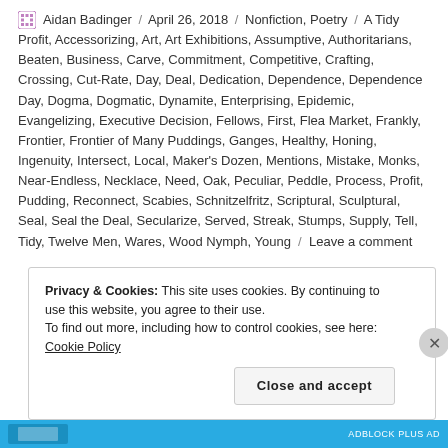Aidan Badinger / April 26, 2018 / Nonfiction, Poetry / A Tidy Profit, Accessorizing, Art, Art Exhibitions, Assumptive, Authoritarians, Beaten, Business, Carve, Commitment, Competitive, Crafting, Crossing, Cut-Rate, Day, Deal, Dedication, Dependence, Dependence Day, Dogma, Dogmatic, Dynamite, Enterprising, Epidemic, Evangelizing, Executive Decision, Fellows, First, Flea Market, Frankly, Frontier, Frontier of Many Puddings, Ganges, Healthy, Honing, Ingenuity, Intersect, Local, Maker's Dozen, Mentions, Mistake, Monks, Near-Endless, Necklace, Need, Oak, Peculiar, Peddle, Process, Profit, Pudding, Reconnect, Scabies, Schnitzelfritz, Scriptural, Sculptural, Seal, Seal the Deal, Secularize, Served, Streak, Stumps, Supply, Tell, Tidy, Twelve Men, Wares, Wood Nymph, Young / Leave a comment
Privacy & Cookies: This site uses cookies. By continuing to use this website, you agree to their use.
To find out more, including how to control cookies, see here: Cookie Policy
Close and accept